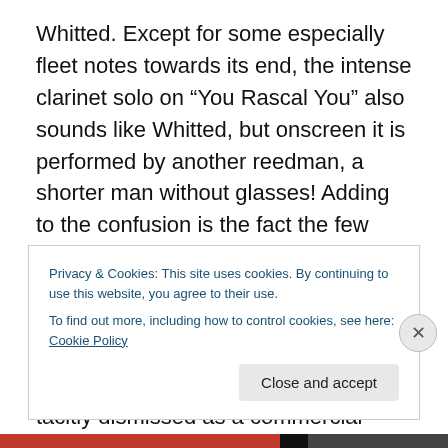Whitted. Except for some especially fleet notes towards its end, the intense clarinet solo on “You Rascal You” also sounds like Whitted, but onscreen it is performed by another reedman, a shorter man without glasses! Adding to the confusion is the fact the few extant pictures of Whitted don’t show him wearing glasses.  It’s also a mystery whether Whitted contributed any charts to Blake’s big band, a group overlooked by historians and tacitly dismissed as a commercial endeavor but which produced some interesting transitional music between the Jazz Age and the swing era.
Privacy & Cookies: This site uses cookies. By continuing to use this website, you agree to their use.
To find out more, including how to control cookies, see here: Cookie Policy